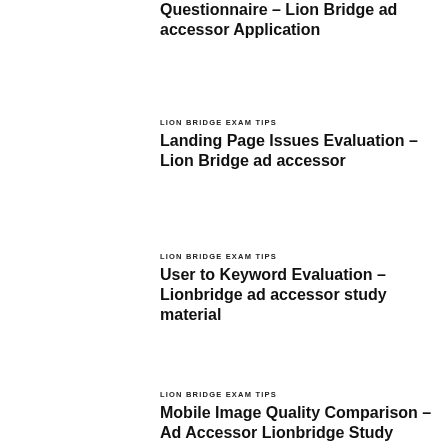Questionnaire – Lion Bridge ad accessor Application
LION BRIDGE EXAM TIPS
Landing Page Issues Evaluation – Lion Bridge ad accessor
LION BRIDGE EXAM TIPS
User to Keyword Evaluation – Lionbridge ad accessor study material
LION BRIDGE EXAM TIPS
Mobile Image Quality Comparison – Ad Accessor Lionbridge Study